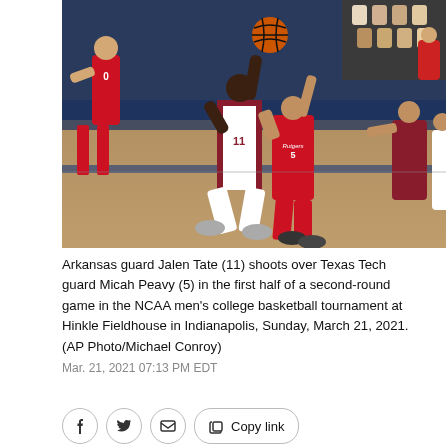[Figure (photo): Basketball game photo: Arkansas guard Jalen Tate (#11) in white uniform jumps to shoot over Texas Tech guard Micah Peavy (#5) in red uniform. Several other players visible on a basketball court. NCAA tournament setting at Hinkle Fieldhouse.]
Arkansas guard Jalen Tate (11) shoots over Texas Tech guard Micah Peavy (5) in the first half of a second-round game in the NCAA men's college basketball tournament at Hinkle Fieldhouse in Indianapolis, Sunday, March 21, 2021. (AP Photo/Michael Conroy)
Mar. 21, 2021 07:13 PM EDT